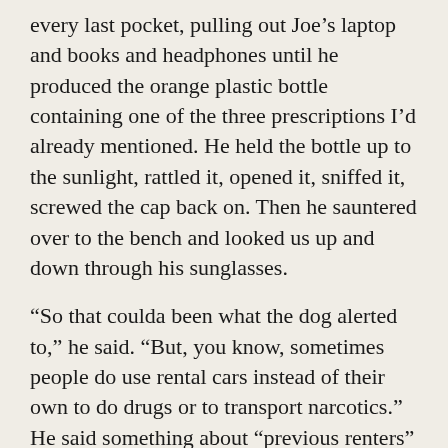every last pocket, pulling out Joe’s laptop and books and headphones until he produced the orange plastic bottle containing one of the three prescriptions I’d already mentioned. He held the bottle up to the sunlight, rattled it, opened it, sniffed it, screwed the cap back on. Then he sauntered over to the bench and looked us up and down through his sunglasses.
“So that coulda been what the dog alerted to,” he said. “But, you know, sometimes people do use rental cars instead of their own to do drugs or to transport narcotics.” He said something about “previous renters” and “upholstery” and “residue.” When neither of us responded, he smirked. “What, people don’t do that up north?”
Up north? I thought of Vermont, Newfoundland, Svalbard, then realized he meant Atlanta, where he knew we lived